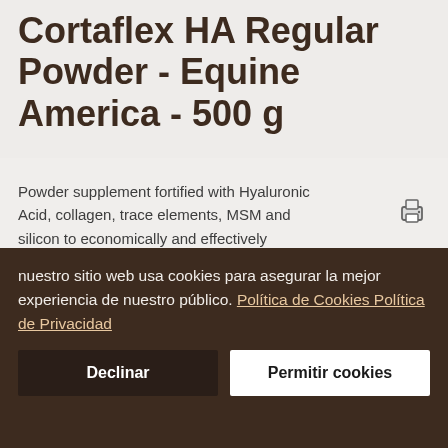Cortaflex HA Regular Powder - Equine America - 500 g
Powder supplement fortified with Hyaluronic Acid, collagen, trace elements, MSM and silicon to economically and effectively supports and maintains healthy joints.
Tamaños disponibles:
Cortaflex HA Regular Powder Equine America 50...
nuestro sitio web usa cookies para asegurar la mejor experiencia de nuestro público. Política de Cookies Política de Privacidad
Declinar
Permitir cookies